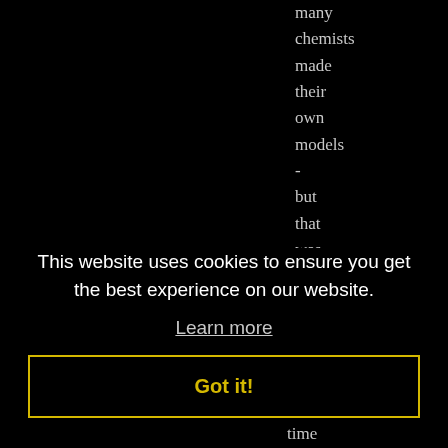many chemists made their own models - but that was in an age when research
This website uses cookies to ensure you get the best experience on our website.
Learn more
Got it!
time